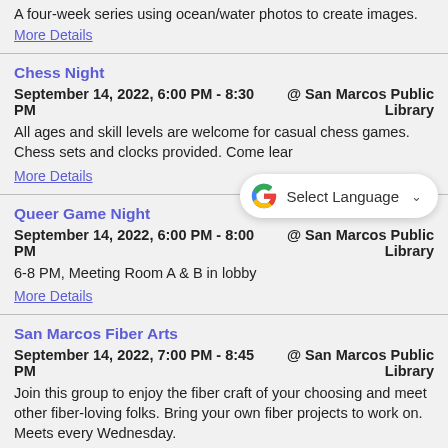A four-week series using ocean/water photos to create images.
More Details
Chess Night
September 14, 2022, 6:00 PM - 8:30 PM  @ San Marcos Public Library
All ages and skill levels are welcome for casual chess games. Chess sets and clocks provided. Come lear...
More Details
Queer Game Night
September 14, 2022, 6:00 PM - 8:00 PM  @ San Marcos Public Library
6-8 PM, Meeting Room A & B in lobby
More Details
San Marcos Fiber Arts
September 14, 2022, 7:00 PM - 8:45 PM  @ San Marcos Public Library
Join this group to enjoy the fiber craft of your choosing and meet other fiber-loving folks. Bring your own fiber projects to work on. Meets every Wednesday.
More Details
Puppet Show - Three Billy Goats Gruff
September 15, 2022, 11:00 AM -  @ San Marcos Public